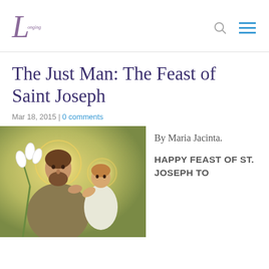[Figure (logo): Cursive L logo with text 'Lionking' or similar script lettering in purple/mauve color]
The Just Man: The Feast of Saint Joseph
Mar 18, 2015 | 0 comments
[Figure (illustration): Religious illustration of Saint Joseph holding the child Jesus. Joseph has a halo and holds white lilies. The child Jesus also has a halo and looks up at Joseph. Warm golden-green background tones.]
By Maria Jacinta.

HAPPY FEAST OF ST. JOSEPH TO